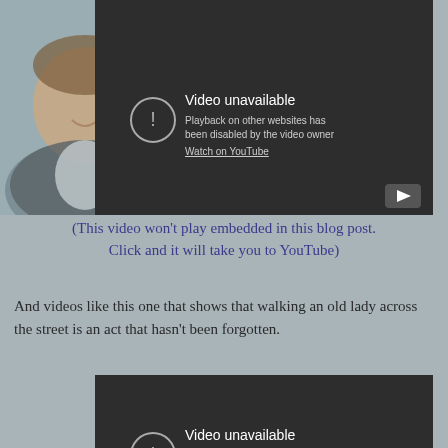[Figure (screenshot): YouTube embedded video player showing 'Video unavailable' message: 'Playback on other websites has been disabled by the video owner. Watch on YouTube.' with a play button in the bottom right. A person's face/shoulder (man in suit) is partially visible to the left of the video box.]
(This video won't play embedded in this blog post. Click and it will take you to YouTube)
And videos like this one that shows that walking an old lady across the street is an act that hasn't been forgotten.
[Figure (screenshot): Second YouTube embedded video player showing 'Video unavailable' message: 'This video is no longer available because the YouTube account...']